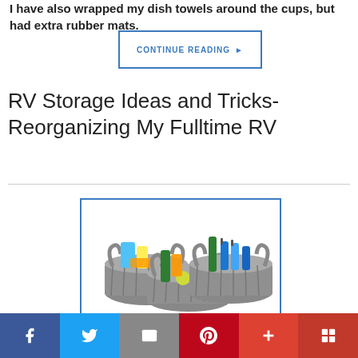I have also wrapped my dish towels around the cups, but had extra rubber mats.
CONTINUE READING ▶
RV Storage Ideas and Tricks- Reorganizing My Fulltime RV
[Figure (photo): Three gray woven baskets filled with various items such as bottles, sponges, and colorful cleaning supplies]
Social share bar with Facebook, Twitter, Email, Pinterest, Plus, and Flipboard buttons